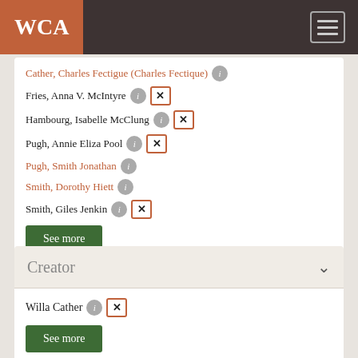WCA
Cather, Charles Fectigue (Charles Fectique)
Fries, Anna V. McIntyre
Hambourg, Isabelle McClung
Pugh, Annie Eliza Pool
Pugh, Smith Jonathan
Smith, Dorothy Hiett
Smith, Giles Jenkin
See more
Creator
Willa Cather
See more